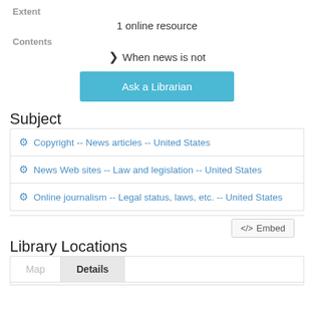Extent
1 online resource
Contents
❯ When news is not
Ask a Librarian
Subject
⚙ Copyright -- News articles -- United States
⚙ News Web sites -- Law and legislation -- United States
⚙ Online journalism -- Legal status, laws, etc. -- United States
</> Embed
Library Locations
Map | Details